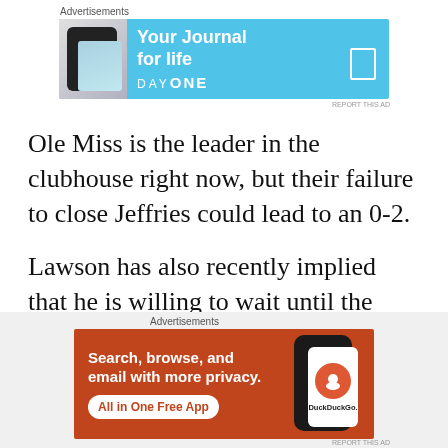[Figure (other): Advertisement banner: DayOne 'Your Journal for life' app ad on light blue background with phone image]
Ole Miss is the leader in the clubhouse right now, but their failure to close Jeffries could lead to an 0-2.
Lawson has also recently implied that he is willing to wait until the spring to sign with a program. That would lead one to assume
[Figure (other): Advertisement banner: DuckDuckGo 'Search, browse, and email with more privacy. All in One Free App' on orange/red background]